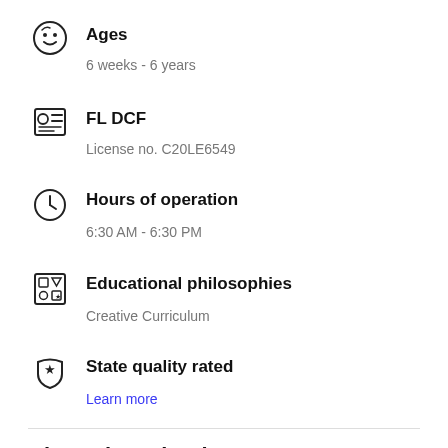Ages
6 weeks - 6 years
FL DCF
License no. C20LE6549
Hours of operation
6:30 AM - 6:30 PM
Educational philosophies
Creative Curriculum
State quality rated
Learn more
About the school